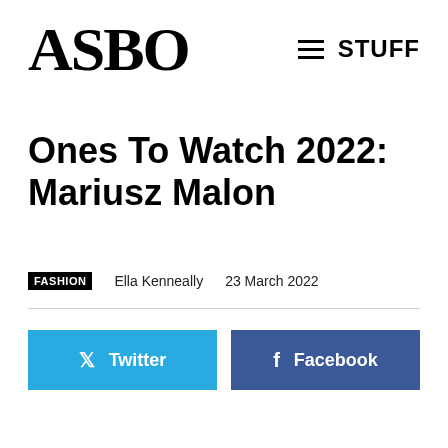ASBO   ☰ STUFF
Ones To Watch 2022: Mariusz Malon
FASHION   Ella Kenneally   23 March 2022
[Figure (other): Twitter share button (blue) and Facebook share button (dark blue)]